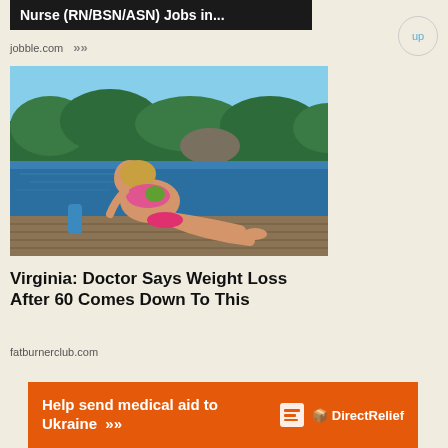[Figure (screenshot): Ad banner for Nurse (RN/BSN/ASN) Jobs on jobble.com]
jobble.com  »»
[Figure (photo): Woman in bikini sitting on a wooden dock by a lake with trees in background]
Virginia: Doctor Says Weight Loss After 60 Comes Down To This
fatburnerclub.com
[Figure (infographic): Direct Relief banner ad: Help send medical aid to Ukraine >> with DirectRelief logo]